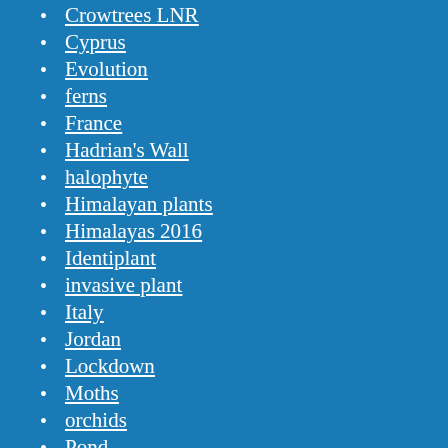Crowtrees LNR
Cyprus
Evolution
ferns
France
Hadrian's Wall
halophyte
Himalayan plants
Himalayas 2016
Identiplant
invasive plant
Italy
Jordan
Lockdown
Moths
orchids
Pond